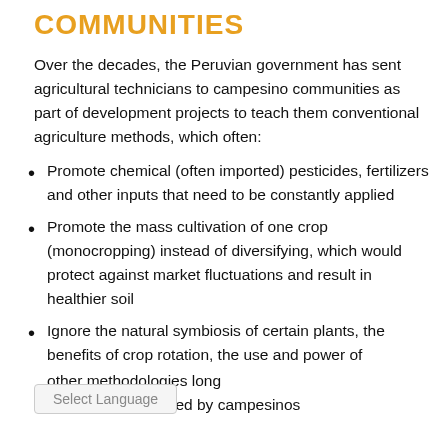COMMUNITIES
Over the decades, the Peruvian government has sent agricultural technicians to campesino communities as part of development projects to teach them conventional agriculture methods, which often:
Promote chemical (often imported) pesticides, fertilizers and other inputs that need to be constantly applied
Promote the mass cultivation of one crop (monocropping) instead of diversifying, which would protect against market fluctuations and result in healthier soil
Ignore the natural symbiosis of certain plants, the benefits of crop rotation, the use and power of [Select Language] other methodologies long understood and used by campesinos